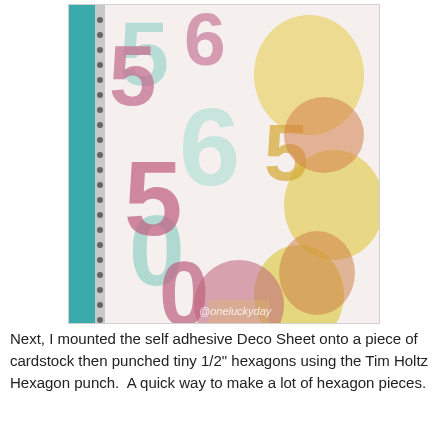[Figure (photo): Close-up photo of a spiral-bound notebook or journal with decorative patterned paper featuring large colorful numbers and shapes in pink, teal, yellow, and orange pastel tones. A teal/blue binding is visible on the left edge. A watermark reads '@oneluckyday' in the bottom right corner.]
Next, I mounted the self adhesive Deco Sheet onto a piece of cardstock then punched tiny 1/2" hexagons using the Tim Holtz Hexagon punch.  A quick way to make a lot of hexagon pieces.